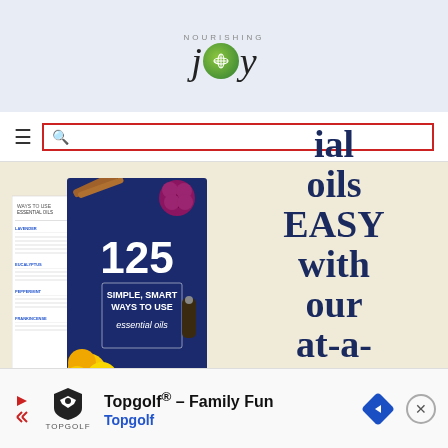[Figure (logo): Nourishing Joy logo with stylized text and green circular emblem]
[Figure (screenshot): Navigation bar with hamburger menu icon and red search box]
[Figure (photo): Book cover: '125 Simple, Smart Ways to Use Essential Oils' by Nourishing Joy, shown on cream background with text 'ial oils EASY with our at-a-glance']
[Figure (infographic): Advertisement for Topgolf: 'Topgolf® - Family Fun / Topgolf' with Topgolf shield logo and navigation arrow icon]